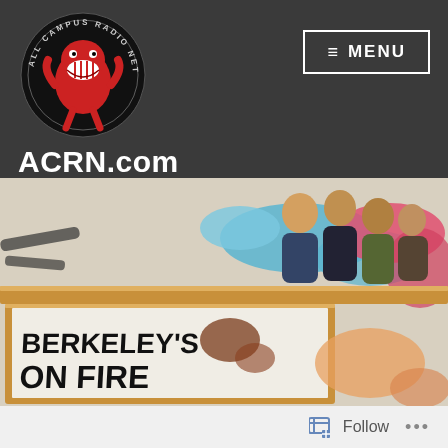[Figure (logo): All Campus Radio Network circular logo with red mascot character on black background]
ACRN.com
[Figure (photo): Album artwork photo showing a framed sign reading 'Berkeley's On Fire' with colorful paint splashes and band members in the background]
Follow ...